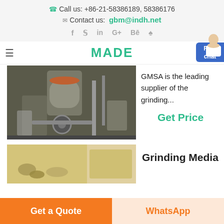Call us: +86-21-58386189, 58386176
Contact us: gbm@indh.net
MADE
GMSA is the leading supplier of the grinding...
Get Price
[Figure (photo): Industrial grinding mill equipment in a factory setting]
Grinding Media
[Figure (photo): Grinding media balls in a container]
Get a Quote
WhatsApp